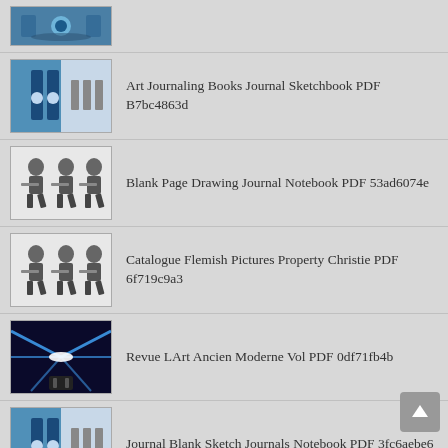(partial item at top — thumbnail only)
Art Journaling Books Journal Sketchbook PDF B7bc4863d
Blank Page Drawing Journal Notebook PDF 53ad6074e
Catalogue Flemish Pictures Property Christie PDF 6f719c9a3
Revue LArt Ancien Moderne Vol PDF 0df71fb4b
Journal Blank Sketch Journals Notebook PDF 3fc6aebe6
Illustrated Catalogue Valuable Collected Reisinger PDF E374957bc